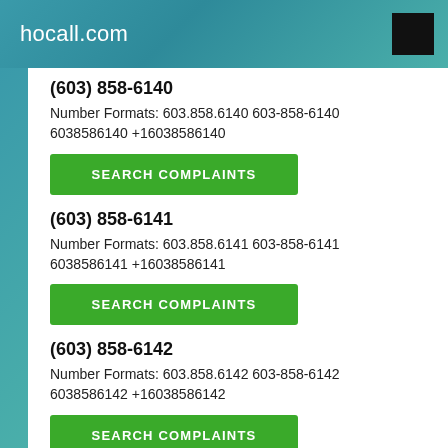hocall.com
(603) 858-6140
Number Formats: 603.858.6140 603-858-6140 6038586140 +16038586140
SEARCH COMPLAINTS
(603) 858-6141
Number Formats: 603.858.6141 603-858-6141 6038586141 +16038586141
SEARCH COMPLAINTS
(603) 858-6142
Number Formats: 603.858.6142 603-858-6142 6038586142 +16038586142
SEARCH COMPLAINTS